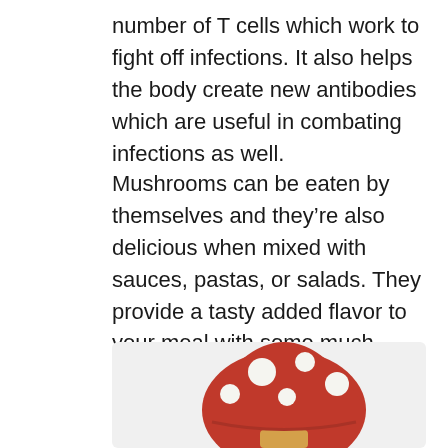number of T cells which work to fight off infections. It also helps the body create new antibodies which are useful in combating infections as well.
Mushrooms can be eaten by themselves and they're also delicious when mixed with sauces, pastas, or salads. They provide a tasty added flavor to your meal with some much needed nutrients as well.
[Figure (illustration): A cartoon-style red mushroom with white spots, partially visible at the bottom of the page, on a light grey background.]